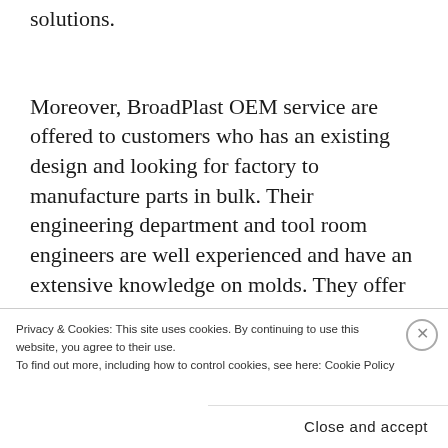solutions.
Moreover, BroadPlast OEM service are offered to customers who has an existing design and looking for factory to manufacture parts in bulk. Their engineering department and tool room engineers are well experienced and have an extensive knowledge on molds. They offer high quality long lasting molds at competitive rates and lead times.
[Figure (photo): Partial image strip showing food/product photographs on a light background]
Privacy & Cookies: This site uses cookies. By continuing to use this website, you agree to their use.
To find out more, including how to control cookies, see here: Cookie Policy
Close and accept